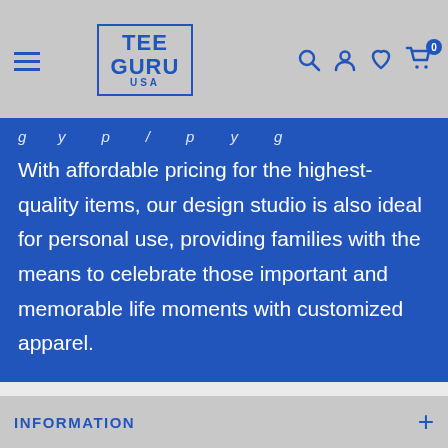TEE GURU USA
With affordable pricing for the highest-quality items, our design studio is also ideal for personal use, providing families with the means to celebrate those important and memorable life moments with customized apparel.
Thank you for your support.
INFORMATION